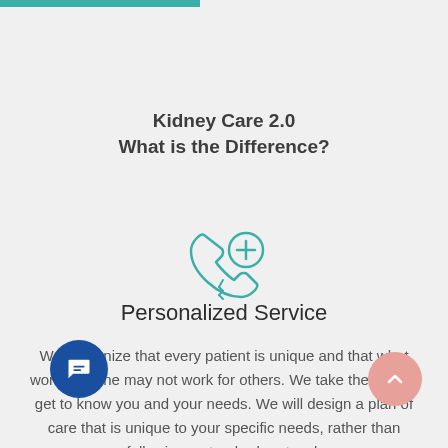Kidney Care 2.0
What is the Difference?
[Figure (illustration): A teal/turquoise line icon of a telephone handset with a medical cross/plus symbol, representing personalized medical service.]
Personalized Service
We recognize that every patient is unique and that what works for one may not work for others. We take the time to get to know you and your needs. We will design a plan of care that is unique to your specific needs, rather than following a standard protocol.